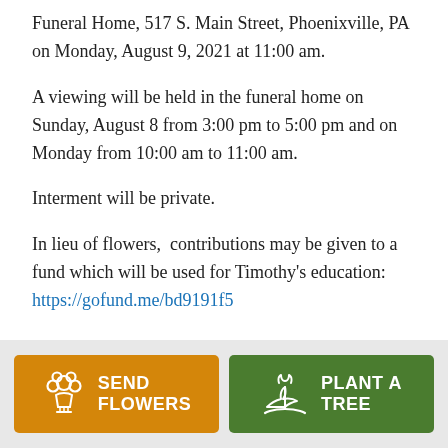Funeral Home, 517 S. Main Street, Phoenixville, PA on Monday, August 9, 2021 at 11:00 am.
A viewing will be held in the funeral home on Sunday, August 8 from 3:00 pm to 5:00 pm and on Monday from 10:00 am to 11:00 am.
Interment will be private.
In lieu of flowers,  contributions may be given to a fund which will be used for Timothy's education: https://gofund.me/bd9191f5